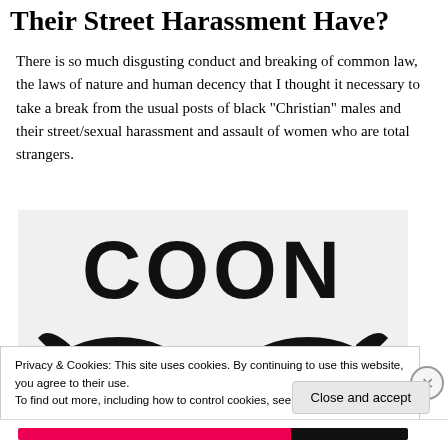Their Street Harassment Have?
There is so much disgusting conduct and breaking of common law, the laws of nature and human decency that I thought it necessary to take a break from the usual posts of black “Christian” males and their street/sexual harassment and assault of women who are total strangers.
[Figure (illustration): Image showing the word COON in large bold letters above a stylized raccoon face graphic on a light gray background]
Privacy & Cookies: This site uses cookies. By continuing to use this website, you agree to their use.
To find out more, including how to control cookies, see here: Cookie Policy
Close and accept